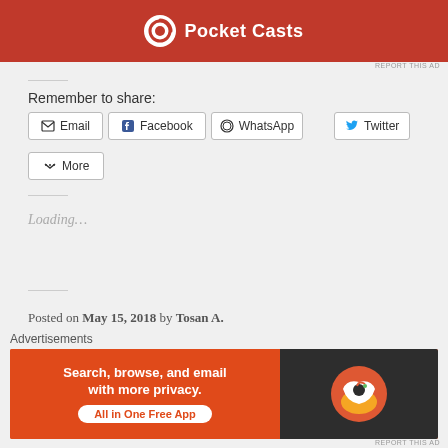[Figure (screenshot): Pocket Casts advertisement banner with red background and Pocket Casts logo]
REPORT THIS AD
Remember to share:
Email  Facebook  WhatsApp  Twitter  More
Loading...
Posted on May 15, 2018 by Tosan A.
Posted in Book reviews, Business reads, Christian reads,
Advertisements
[Figure (screenshot): DuckDuckGo advertisement: Search, browse, and email with more privacy. All in One Free App]